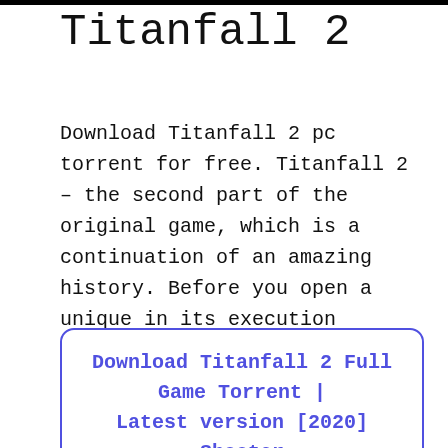Titanfall 2
Download Titanfall 2 pc torrent for free. Titanfall 2 – the second part of the original game, which is a continuation of an amazing history. Before you open a unique in its execution shooter, which will be held with the first-person view, allowing you to dive deeper into what was going on. Here you will become...
Download Titanfall 2 Full Game Torrent | Latest version [2020] Shooter